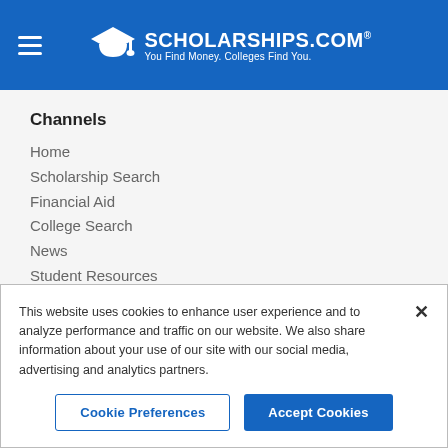[Figure (logo): Scholarships.com logo with graduation cap icon and tagline 'You Find Money. Colleges Find You.' on blue header background with hamburger menu icon]
Channels
Home
Scholarship Search
Financial Aid
College Search
News
Student Resources
Educators
Submit A Scholarship
This website uses cookies to enhance user experience and to analyze performance and traffic on our website. We also share information about your use of our site with our social media, advertising and analytics partners.
Cookie Preferences | Accept Cookies